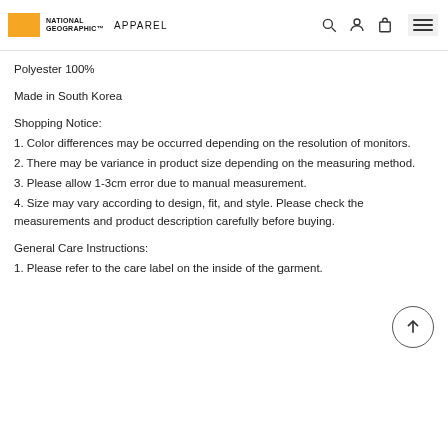NATIONAL GEOGRAPHIC APPAREL
Polyester 100%
Made in South Korea
Shopping Notice:
1. Color differences may be occurred depending on the resolution of monitors.
2. There may be variance in product size depending on the measuring method.
3. Please allow 1-3cm error due to manual measurement.
4. Size may vary according to design, fit, and style. Please check the measurements and product description carefully before buying.
General Care Instructions:
1. Please refer to the care label on the inside of the garment.